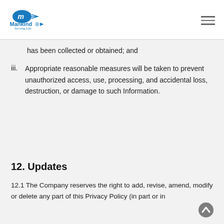Mankind Pharma – Serving Life
has been collected or obtained; and
iii. Appropriate reasonable measures will be taken to prevent unauthorized access, use, processing, and accidental loss, destruction, or damage to such Information.
12. Updates
12.1 The Company reserves the right to add, revise, amend, modify or delete any part of this Privacy Policy (in part or in